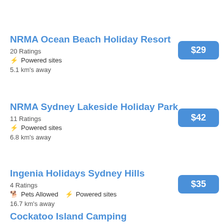NRMA Ocean Beach Holiday Resort
20 Ratings
⚡ Powered sites
5.1 km's away
$29
NRMA Sydney Lakeside Holiday Park
11 Ratings
⚡ Powered sites
6.8 km's away
$42
Ingenia Holidays Sydney Hills
4 Ratings
🐕 Pets Allowed  ⚡ Powered sites
16.7 km's away
$35
Cockatoo Island Camping